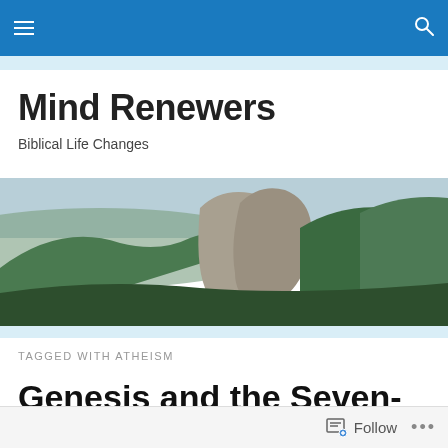Mind Renewers — navigation bar with hamburger menu and search icon
Mind Renewers
Biblical Life Changes
[Figure (photo): Panoramic landscape photo of green rolling hills with rocky cliff formation under a pale sky]
TAGGED WITH ATHEISM
Genesis and the Seven-Day Week
Follow  •••